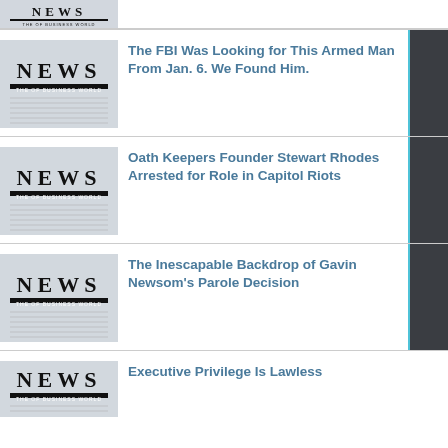[Figure (photo): NEWS newspaper image, cropped top portion only]
[Figure (photo): NEWS newspaper image]
The FBI Was Looking for This Armed Man From Jan. 6. We Found Him.
[Figure (photo): NEWS newspaper image]
Oath Keepers Founder Stewart Rhodes Arrested for Role in Capitol Riots
[Figure (photo): NEWS newspaper image]
The Inescapable Backdrop of Gavin Newsom's Parole Decision
[Figure (photo): NEWS newspaper image]
Executive Privilege Is Lawless